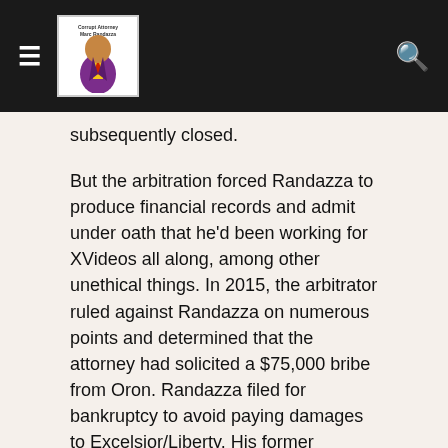Corrupt Attorney Marc Randazza [logo/site header]
subsequently closed.
But the arbitration forced Randazza to produce financial records and admit under oath that he'd been working for XVideos all along, among other unethical things. In 2015, the arbitrator ruled against Randazza on numerous points and determined that the attorney had solicited a $75,000 bribe from Oron. Randazza filed for bankruptcy to avoid paying damages to Excelsior/Liberty. His former employer lodged another round of bar complaints based on the arbitrator's decision and voluminous evidence from the arbitration.
At the end of 2016, the Nevada Bar finally filed